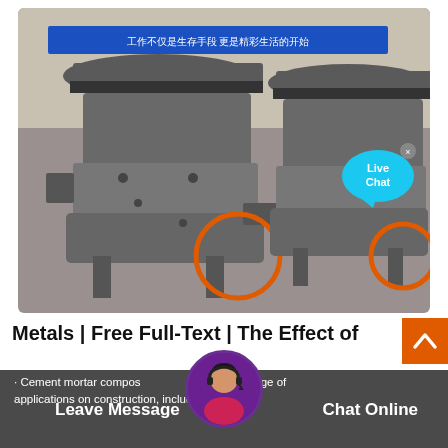[Figure (photo): Two large industrial cone crushers side by side in a factory/warehouse setting. Both machines are heavy grey metal equipment with gear rings at the top. Two orange circles highlight connector/coupling components on each machine. A 'Live Chat' bubble overlay appears in the top right area of the photo.]
Metals | Free Full-Text | The Effect of
· Cement mortar composites have a wide range of applications on construction, including masonry,
Leave Message
Chat Online